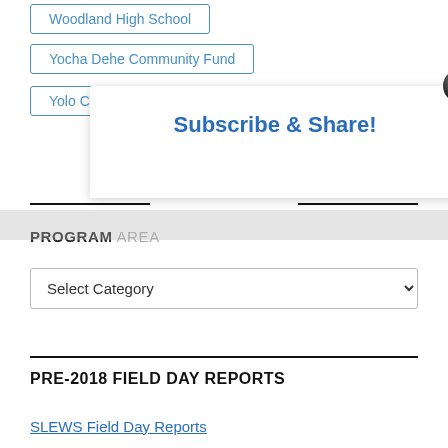Woodland High School
Yocha Dehe Community Fund
Yolo C
trict
[Figure (screenshot): Subscribe & Share! popup overlay with close button (X icon)]
PROGRAM AREA
Select Category
PRE-2018 FIELD DAY REPORTS
SLEWS Field Day Reports